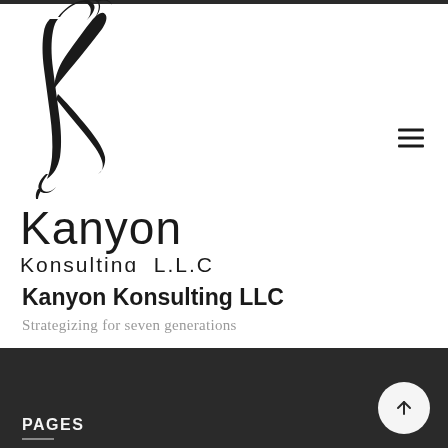[Figure (logo): Kanyon Konsulting LLC logo: decorative stylized 'K' monogram with floral/vine design on the left, and company name 'Kanyon Konsulting L.L.C' in large text on the right]
Kanyon Konsulting LLC
Strategizing for seven generations
PAGES